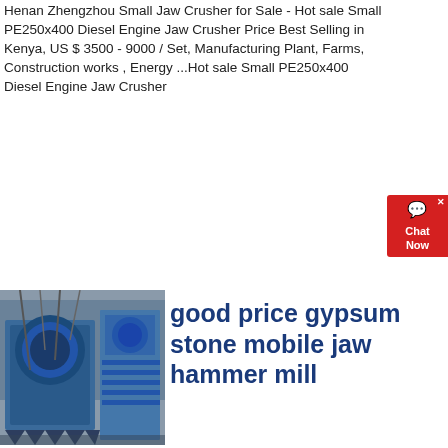Henan Zhengzhou Small Jaw Crusher for Sale - Hot sale Small PE250x400 Diesel Engine Jaw Crusher Price Best Selling in Kenya, US $ 3500 - 9000 / Set, Manufacturing Plant, Farms, Construction works , Energy ...Hot sale Small PE250x400 Diesel Engine Jaw Crusher
[Figure (photo): Industrial machinery photo showing blue jaw crusher or mill equipment in a factory setting]
good price gypsum stone mobile jaw hammer mill
industrial gypsum crusher, industrial gypsum crusher. Reasonable price jaw stone crusher barite jaw crusher specifications stone gypsum jaw crusher. US $22300-$32000/ Set. 1 Set (Min Order) CN Henan Liming mobile hammer mill, mobile hammer mill Suppliers and2013 ore stone crushing